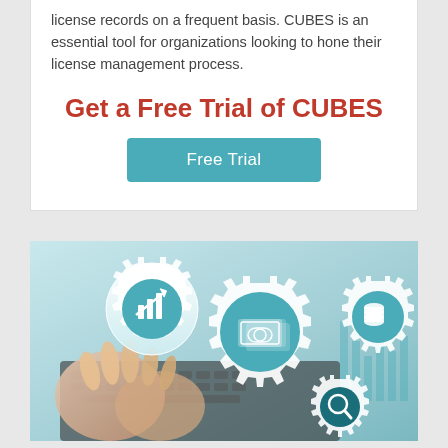license records on a frequent basis. CUBES is an essential tool for organizations looking to hone their license management process.
Get a Free Trial of CUBES
Free Trial
[Figure (photo): Photo of hands typing on a laptop keyboard overlaid with teal gear icons containing financial symbols: a bar chart, stacked currency/money bills, a stack of coins, and a magnifying glass search icon.]